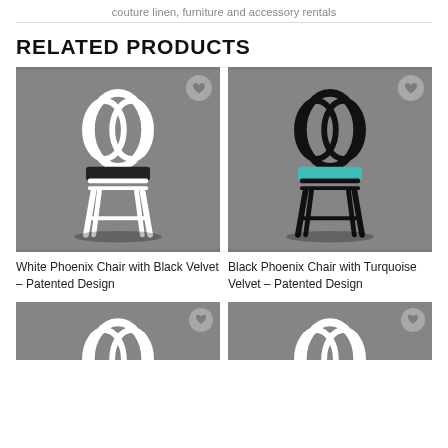couture linen, furniture and accessory rentals
RELATED PRODUCTS
[Figure (photo): White Phoenix Chair with black velvet seat on gray background, with heart icon overlay]
White Phoenix Chair with Black Velvet – Patented Design
[Figure (photo): Black Phoenix Chair with turquoise velvet seat on gray background, with heart icon overlay]
Black Phoenix Chair with Turquoise Velvet – Patented Design
[Figure (photo): Partial view of white Phoenix Chair back detail on gray background, with heart icon overlay]
[Figure (photo): Partial view of white Phoenix Chair back detail on gray background, with heart icon overlay]